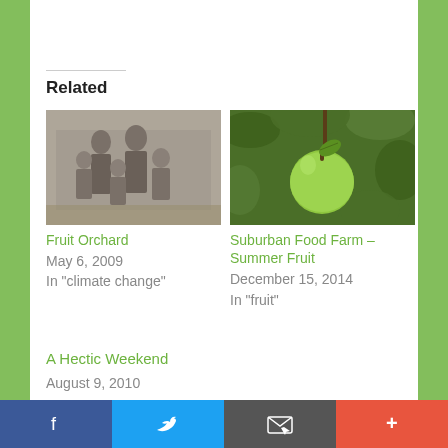Related
[Figure (photo): Black and white photo of a family group with children in an orchard or garden setting]
Fruit Orchard
May 6, 2009
In "climate change"
[Figure (photo): Color photo of a large green apple hanging on a tree branch with green leaves in the background]
Suburban Food Farm – Summer Fruit
December 15, 2014
In "fruit"
A Hectic Weekend
August 9, 2010